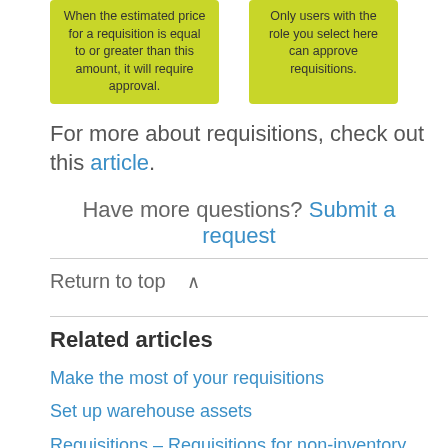[Figure (infographic): Two yellow-green tooltip boxes. Left: 'When the estimated price for a requisition is equal to or greater than this amount, it will require approval.' Right: 'Only users with the role you select here can approve requisitions.']
For more about requisitions, check out this article.
Have more questions? Submit a request
Return to top ∧
Related articles
Make the most of your requisitions
Set up warehouse assets
Requisitions – Requisitions for non-inventory items
Version 1.23: Release Notes